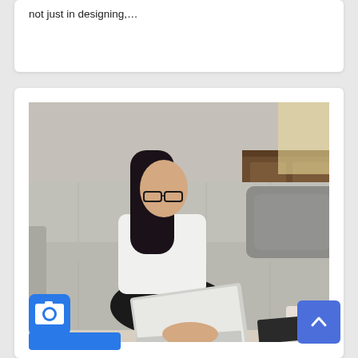not just in designing,...
[Figure (photo): Woman with glasses wearing a white blouse sitting cross-legged on a grey tufted sofa, working on a laptop. A coffee mug and notebook are on the sofa beside her. Background shows a vintage wooden dresser and wicker basket. A blue camera icon overlay is in the bottom-left of the image.]
[Figure (other): Blue scroll-to-top button with upward chevron arrow, bottom-right corner]
[Figure (other): Partial blue button visible at bottom-left of lower card]